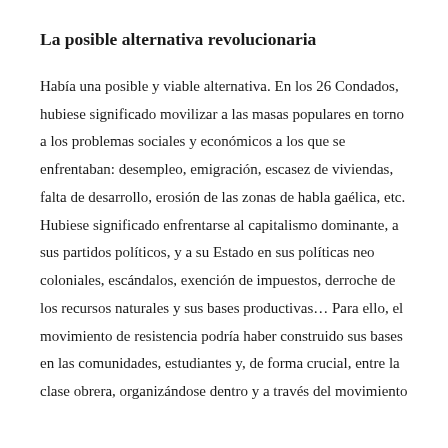La posible alternativa revolucionaria
Había una posible y viable alternativa. En los 26 Condados, hubiese significado movilizar a las masas populares en torno a los problemas sociales y económicos a los que se enfrentaban: desempleo, emigración, escasez de viviendas, falta de desarrollo, erosión de las zonas de habla gaélica, etc. Hubiese significado enfrentarse al capitalismo dominante, a sus partidos políticos, y a su Estado en sus políticas neo coloniales, escándalos, exención de impuestos, derroche de los recursos naturales y sus bases productivas… Para ello, el movimiento de resistencia podría haber construido sus bases en las comunidades, estudiantes y, de forma crucial, entre la clase obrera, organizándose dentro y a través del movimiento